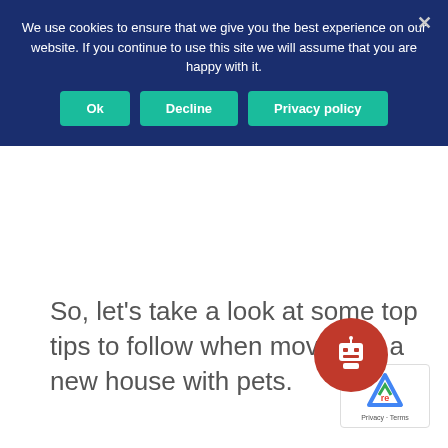We use cookies to ensure that we give you the best experience on our website. If you continue to use this site we will assume that you are happy with it.
So, let's take a look at some top tips to follow when moving to a new house with pets.
[Figure (other): Red circular chatbot button with robot icon in bottom right corner, and reCAPTCHA badge below it]